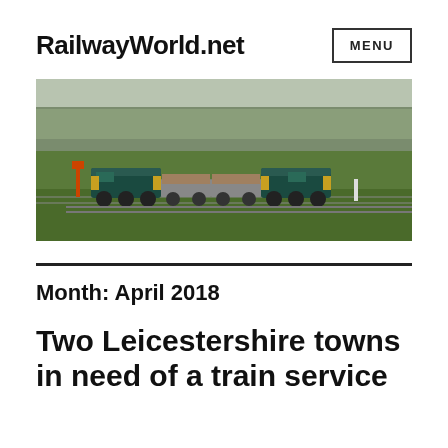RailwayWorld.net
[Figure (photo): Two teal/green diesel locomotives pulling flatbed freight wagons through open countryside with green fields and bare trees in the background.]
Month: April 2018
Two Leicestershire towns in need of a train service